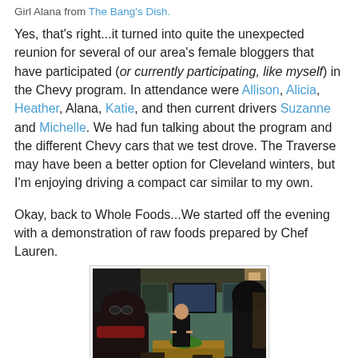Girl Alana from The Bang's Dish.
Yes, that's right...it turned into quite the unexpected reunion for several of our area's female bloggers that have participated (or currently participating, like myself) in the Chevy program. In attendance were Allison, Alicia, Heather, Alana, Katie, and then current drivers Suzanne and Michelle. We had fun talking about the program and the different Chevy cars that we test drove. The Traverse may have been a better option for Cleveland winters, but I'm enjoying driving a compact car similar to my own.
Okay, back to Whole Foods...We started off the evening with a demonstration of raw foods prepared by Chef Lauren.
[Figure (photo): Indoor photo of a cooking demonstration at Whole Foods. People sitting in the foreground watching a chef at a wooden counter. A TV screen on a green wall in the background.]
She also shared some information with